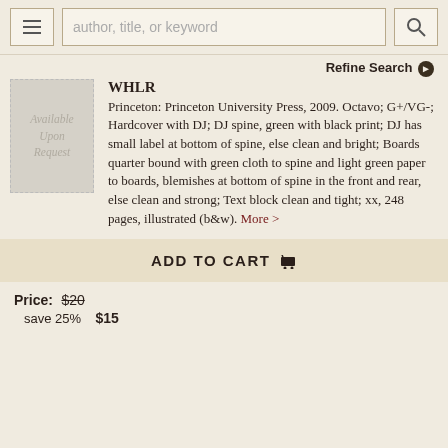author, title, or keyword
Refine Search
[Figure (illustration): Book image placeholder reading 'Available Upon Request' in italic text on a grey dashed-border background]
WHLR
Princeton: Princeton University Press, 2009. Octavo; G+/VG-; Hardcover with DJ; DJ spine, green with black print; DJ has small label at bottom of spine, else clean and bright; Boards quarter bound with green cloth to spine and light green paper to boards, blemishes at bottom of spine in the front and rear, else clean and strong; Text block clean and tight; xx, 248 pages, illustrated (b&w). More >
ADD TO CART
Price: $20 save 25% $15